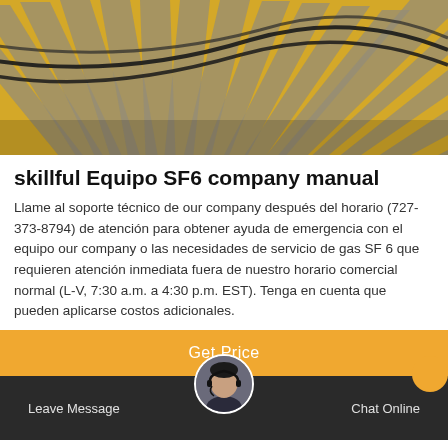[Figure (photo): Close-up photo of yellow and grey striped industrial/electrical cables or wiring, likely related to SF6 gas equipment]
skillful Equipo SF6 company manual
Llame al soporte técnico de our company después del horario (727-373-8794) de atención para obtener ayuda de emergencia con el equipo our company o las necesidades de servicio de gas SF 6 que requieren atención inmediata fuera de nuestro horario comercial normal (L-V, 7:30 a.m. a 4:30 p.m. EST). Tenga en cuenta que pueden aplicarse costos adicionales.
Get Price
[Figure (photo): Customer service representative avatar — woman with headset]
Leave Message   Chat Online